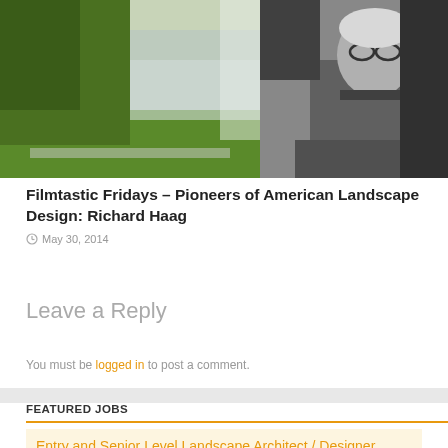[Figure (photo): Outdoor landscape photo with green lawn, trees, water reflection on the left side, and a black-and-white photo of an older man with glasses on the right side]
Filmtastic Fridays – Pioneers of American Landscape Design: Richard Haag
May 30, 2014
Leave a Reply
You must be logged in to post a comment.
FEATURED JOBS
Entry and Senior Level Landscape Architect / Designer